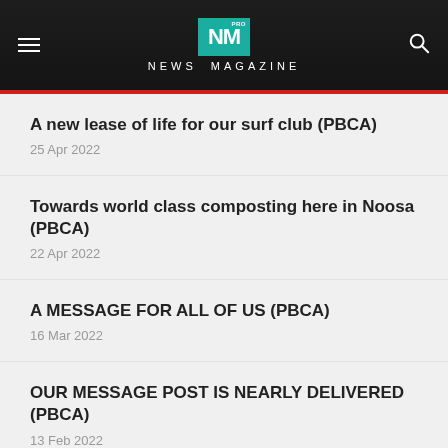NM PRO NEWS MAGAZINE
A new lease of life for our surf club (PBCA)
25 Apr 2022
Towards world class composting here in Noosa (PBCA)
22 Apr 2022
A MESSAGE FOR ALL OF US (PBCA)
16 Mar 2022
OUR MESSAGE POST IS NEARLY DELIVERED (PBCA)
13 Feb 2022